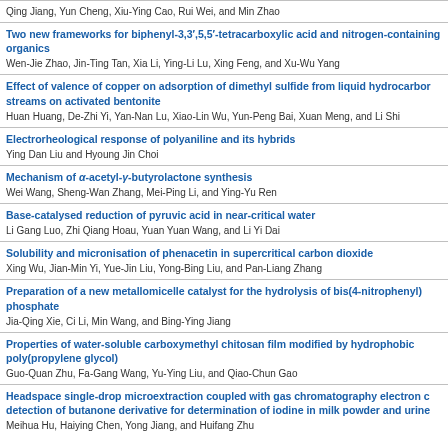Qing Jiang, Yun Cheng, Xiu-Ying Cao, Rui Wei, and Min Zhao
Two new frameworks for biphenyl-3,3′,5,5′-tetracarboxylic acid and nitrogen-containing organics
Wen-Jie Zhao, Jin-Ting Tan, Xia Li, Ying-Li Lu, Xing Feng, and Xu-Wu Yang
Effect of valence of copper on adsorption of dimethyl sulfide from liquid hydrocarbon streams on activated bentonite
Huan Huang, De-Zhi Yi, Yan-Nan Lu, Xiao-Lin Wu, Yun-Peng Bai, Xuan Meng, and Li Shi
Electrorheological response of polyaniline and its hybrids
Ying Dan Liu and Hyoung Jin Choi
Mechanism of α-acetyl-γ-butyrolactone synthesis
Wei Wang, Sheng-Wan Zhang, Mei-Ping Li, and Ying-Yu Ren
Base-catalysed reduction of pyruvic acid in near-critical water
Li Gang Luo, Zhi Qiang Hoau, Yuan Yuan Wang, and Li Yi Dai
Solubility and micronisation of phenacetin in supercritical carbon dioxide
Xing Wu, Jian-Min Yi, Yue-Jin Liu, Yong-Bing Liu, and Pan-Liang Zhang
Preparation of a new metallomicelle catalyst for the hydrolysis of bis(4-nitrophenyl) phosphate
Jia-Qing Xie, Ci Li, Min Wang, and Bing-Ying Jiang
Properties of water-soluble carboxymethyl chitosan film modified by hydrophobic poly(propylene glycol)
Guo-Quan Zhu, Fa-Gang Wang, Yu-Ying Liu, and Qiao-Chun Gao
Headspace single-drop microextraction coupled with gas chromatography electron c… detection of butanone derivative for determination of iodine in milk powder and urine
Meihua Hu, Haiying Chen, Yong Jiang, and Huifang Zhu